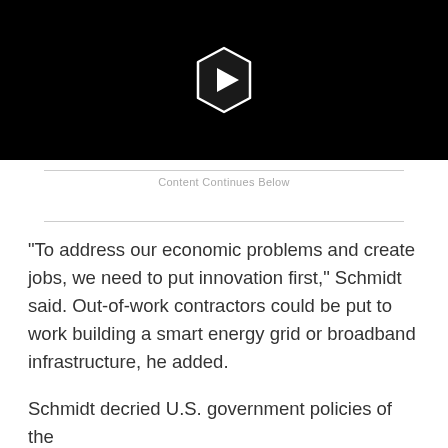[Figure (other): Black video player area with a hexagonal play button icon (white play triangle on dark polygon outline) centered on a black background]
Content Continues Below
"To address our economic problems and create jobs, we need to put innovation first," Schmidt said. Out-of-work contractors could be put to work building a smart energy grid or broadband infrastructure, he added.
Schmidt decried U.S. government policies of the